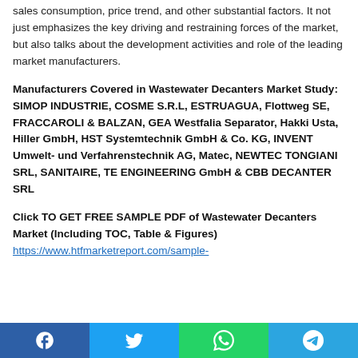sales consumption, price trend, and other substantial factors. It not just emphasizes the key driving and restraining forces of the market, but also talks about the development activities and role of the leading market manufacturers.
Manufacturers Covered in Wastewater Decanters Market Study: SIMOP INDUSTRIE, COSME S.R.L, ESTRUAGUA, Flottweg SE, FRACCAROLI & BALZAN, GEA Westfalia Separator, Hakki Usta, Hiller GmbH, HST Systemtechnik GmbH & Co. KG, INVENT Umwelt- und Verfahrenstechnik AG, Matec, NEWTEC TONGIANI SRL, SANITAIRE, TE ENGINEERING GmbH & CBB DECANTER SRL
Click TO GET FREE SAMPLE PDF of Wastewater Decanters Market (Including TOC, Table & Figures) https://www.htfmarketreport.com/sample-
[Figure (other): Social media share buttons: Facebook, Twitter, WhatsApp, Telegram]